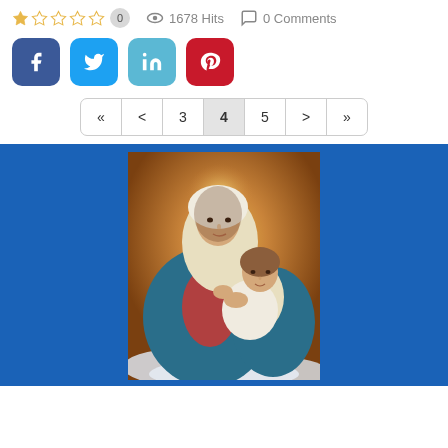★☆☆☆☆ 0  👁 1678 Hits  💬 0 Comments
[Figure (screenshot): Social share buttons: Facebook (dark blue), Twitter (light blue), LinkedIn (teal), Pinterest (red), each with rounded corners and white icons]
« < 3 4 5 > »  (pagination, page 4 active)
[Figure (illustration): Religious painting of the Virgin Mary holding the Christ Child, classical style with warm golden halo background, Mary in blue and cream robes, against a blue banner background]